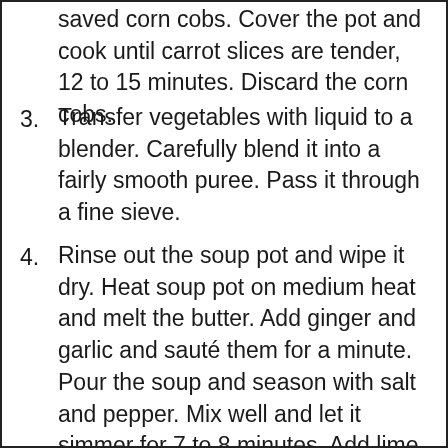(partial) saved corn cobs. Cover the pot and cook until carrot slices are tender, 12 to 15 minutes. Discard the corn cobs.
3. Transfer vegetables with liquid to a blender. Carefully blend it into a fairly smooth puree. Pass it through a fine sieve.
4. Rinse out the soup pot and wipe it dry. Heat soup pot on medium heat and melt the butter. Add ginger and garlic and sauté them for a minute. Pour the soup and season with salt and pepper. Mix well and let it simmer for 7 to 8 minutes. Add lime (cut off)